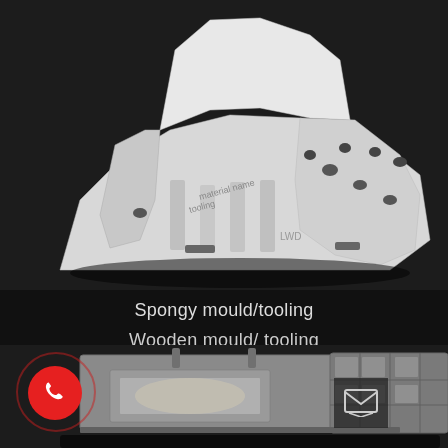[Figure (photo): White spongy foam mould/tooling component photographed on dark background, showing complex industrial part with holes and slots]
Spongy mould/tooling
Wooden mould/ tooling
[Figure (photo): Metal wooden mould/tooling components photographed on dark background, showing rectangular metal mould parts with pins and cavities]